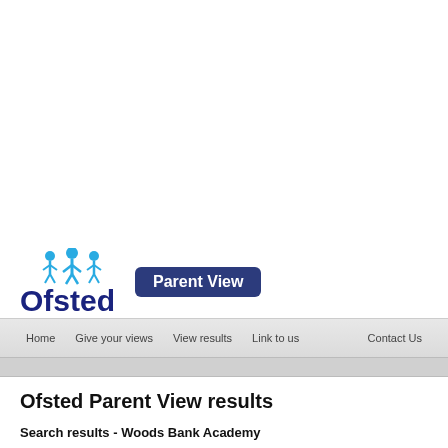[Figure (logo): Ofsted Parent View logo with stylized figures and dark blue badge reading 'Parent View']
Home   Give your views   View results   Link to us   Contact Us
Ofsted Parent View results
Search results - Woods Bank Academy